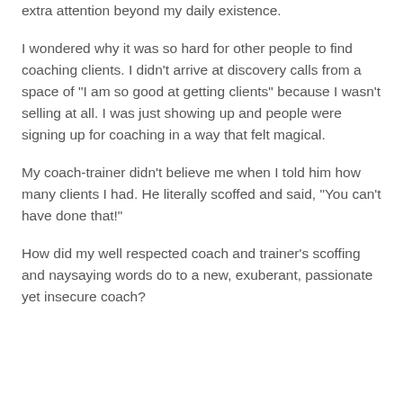extra attention beyond my daily existence.
I wondered why it was so hard for other people to find coaching clients. I didn't arrive at discovery calls from a space of "I am so good at getting clients" because I wasn't selling at all. I was just showing up and people were signing up for coaching in a way that felt magical.
My coach-trainer didn't believe me when I told him how many clients I had. He literally scoffed and said, "You can't have done that!"
How did my well respected coach and trainer's scoffing and naysaying words do to a new, exuberant, passionate yet insecure coach?